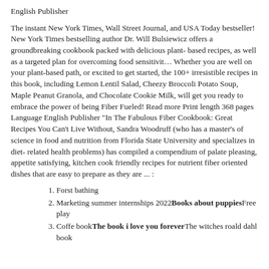English Publisher
The instant New York Times, Wall Street Journal, and USA Today bestseller! New York Times bestselling author Dr. Will Bulsiewicz offers a groundbreaking cookbook packed with delicious plant-based recipes, as well as a targeted plan for overcoming food sensitivit… Whether you are well on your plant-based path, or excited to get started, the 100+ irresistible recipes in this book, including Lemon Lentil Salad, Cheezy Broccoli Potato Soup, Maple Peanut Granola, and Chocolate Cookie Milk, will get you ready to embrace the power of being Fiber Fueled! Read more Print length 368 pages Language English Publisher "In The Fabulous Fiber Cookbook: Great Recipes You Can't Live Without, Sandra Woodruff (who has a master's of science in food and nutrition from Florida State University and specializes in diet-related health problems) has compiled a compendium of palate pleasing, appetite satisfying, kitchen cook friendly recipes for nutrient fiber oriented dishes that are easy to prepare as they are ... :
Forst bathing
Marketing summer internships 2022Books about puppiesFree play
Coffe bookThe book i love you foreverThe witches roald dahl book